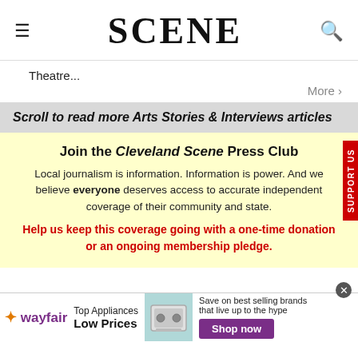SCENE
Theatre...
More >
Scroll to read more Arts Stories & Interviews articles
Join the Cleveland Scene Press Club
Local journalism is information. Information is power. And we believe everyone deserves access to accurate independent coverage of their community and state.
Help us keep this coverage going with a one-time donation or an ongoing membership pledge.
[Figure (screenshot): Wayfair advertisement banner: Top Appliances Low Prices, image of a stove, Save on best selling brands that live up to the hype, Shop now button]